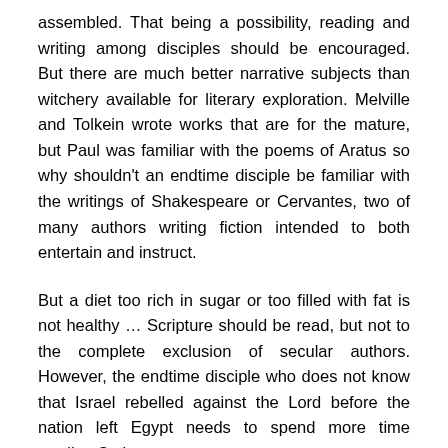assembled. That being a possibility, reading and writing among disciples should be encouraged. But there are much better narrative subjects than witchery available for literary exploration. Melville and Tolkein wrote works that are for the mature, but Paul was familiar with the poems of Aratus so why shouldn't an endtime disciple be familiar with the writings of Shakespeare or Cervantes, two of many authors writing fiction intended to both entertain and instruct.
But a diet too rich in sugar or too filled with fat is not healthy … Scripture should be read, but not to the complete exclusion of secular authors. However, the endtime disciple who does not know that Israel rebelled against the Lord before the nation left Egypt needs to spend more time reading Scripture.
Consider the following: the prophet Ezekiel records,